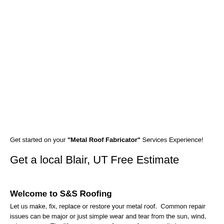Get started on your "Metal Roof Fabricator" Services Experience!
Get a local Blair, UT Free Estimate
Welcome to S&S Roofing
Let us make, fix, replace or restore your metal roof.  Common repair issues can be major or just simple wear and tear from the sun, wind, rain or snow.  The life expectancy of any roof can usually be determined by reviewing the